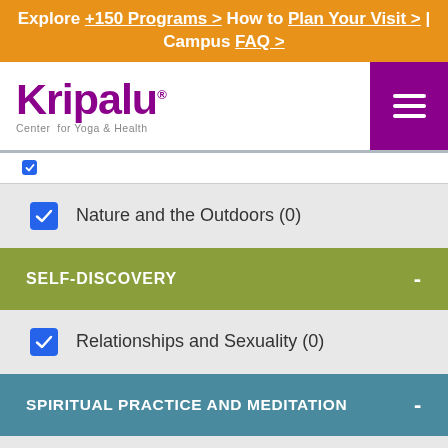Explore +150 Programs > How to Plan Your Visit > | Campus FAQ >
[Figure (logo): Kripalu Center for Yoga & Health logo in purple, with hamburger menu button in purple on the right]
Nature and the Outdoors (0)
SELF-DISCOVERY -
Relationships and Sexuality (0)
SPIRITUAL PRACTICE AND MEDITATION -
All Spiritual Practice and Inquiry (0)